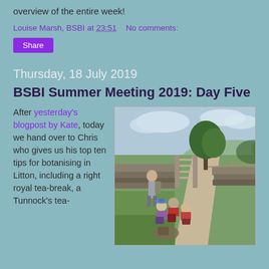overview of the entire week!
Louise Marsh, BSBI at 23:51  No comments:
Share
Thursday, 18 July 2019
BSBI Summer Meeting 2019: Day Five
After yesterday's blogpost by Kate, today we hand over to Chris who gives us his top ten tips for botanising in Litton, including a right royal tea-break, a Tunnock's tea-
[Figure (photo): Group of botanists sitting and standing along a country lane bordered by dry stone walls and green fields, with trees and sky in the background.]